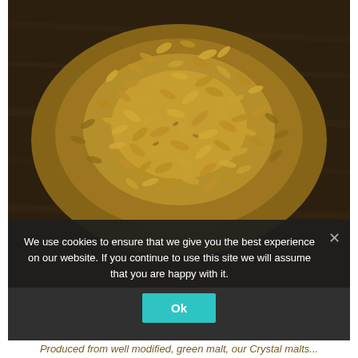[Figure (photo): Close-up overhead photo of a pile of golden/amber grain malt kernels scattered on a dark wooden surface]
We use cookies to ensure that we give you the best experience on our website. If you continue to use this site we will assume that you are happy with it.
Ok
Produced from well modified, green malt, our Crystal malts...